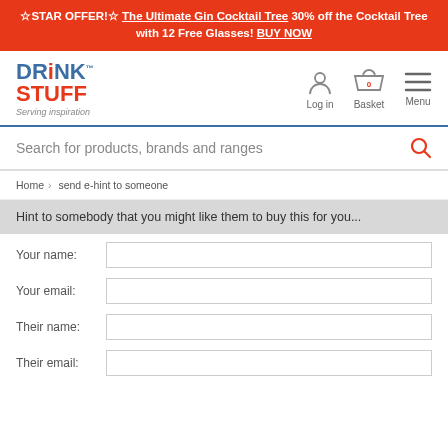☆STAR OFFER!☆ The Ultimate Gin Cocktail Tree 30% off the Cocktail Tree with 12 Free Glasses! BUY NOW
[Figure (logo): DrinkStuff logo with tagline 'Serving inspiration']
Log in | Basket (0) | Menu
Search for products, brands and ranges
Home > send e-hint to someone
Hint to somebody that you might like them to buy this for you...
Your name:
Your email:
Their name:
Their email: